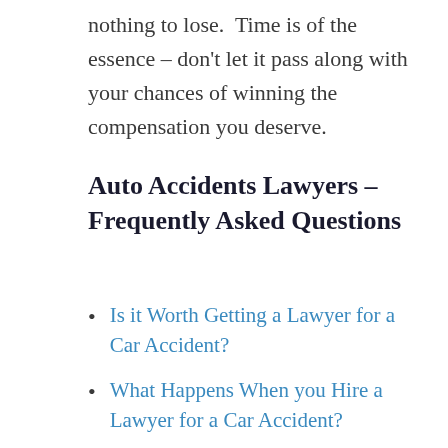nothing to lose.  Time is of the essence – don't let it pass along with your chances of winning the compensation you deserve.
Auto Accidents Lawyers – Frequently Asked Questions
Is it Worth Getting a Lawyer for a Car Accident?
What Happens When you Hire a Lawyer for a Car Accident?
How do I Choose an Attorney for my Car Accident?